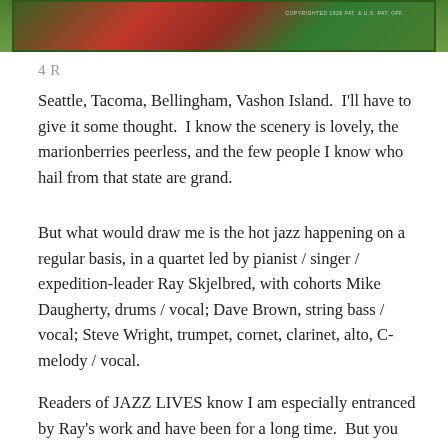[Figure (illustration): Cropped top portion of a vintage fruit crate label with red roses and green foliage on a green background, with small copyright text reading 'COPYRIGHTED 1928 PAT. & U.S. PAT. OFF.']
4 R
Seattle, Tacoma, Bellingham, Vashon Island.  I'll have to give it some thought.  I know the scenery is lovely, the marionberries peerless, and the few people I know who hail from that state are grand.
But what would draw me is the hot jazz happening on a regular basis, in a quartet led by pianist / singer / expedition-leader Ray Skjelbred, with cohorts Mike Daugherty, drums / vocal; Dave Brown, string bass / vocal; Steve Wright, trumpet, cornet, clarinet, alto, C-melody / vocal.
Readers of JAZZ LIVES know I am especially entranced by Ray's work and have been for a long time.  But you